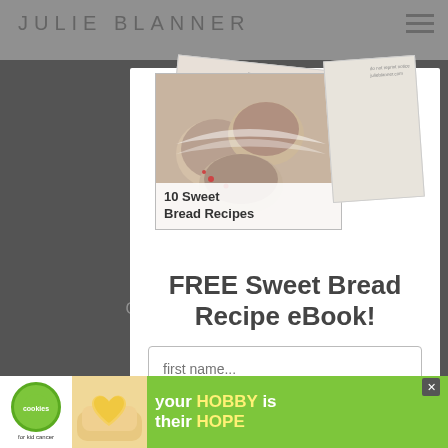[Figure (screenshot): Website popup modal on Julie Blanner blog. A dimmed background shows the site header with logo 'JULIE BLANNER' and hamburger menu. A white modal dialog overlays the center with a book cover image for '10 Sweet Bread Recipes', a headline 'FREE Sweet Bread Recipe eBook!', and two input fields for 'first name...' and 'email address...'. A green ad bar at the bottom promotes 'cookies for kid cancer' with text 'your HOBBY is their HOPE'. A close (X) button appears top-right of the modal.]